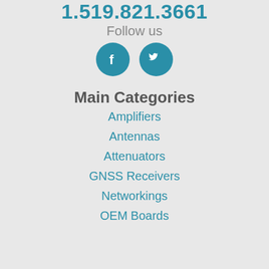1.519.821.3661
Follow us
[Figure (illustration): Facebook and Twitter social media icons as teal circular buttons]
Main Categories
Amplifiers
Antennas
Attenuators
GNSS Receivers
Networkings
OEM Boards